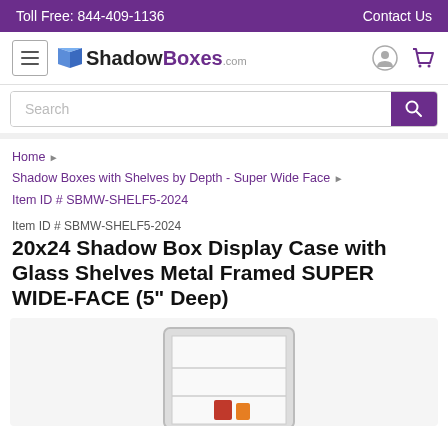Toll Free: 844-409-1136   Contact Us
[Figure (logo): ShadowBoxes.com logo with hamburger menu, user icon, and cart icon]
Search
Home › Shadow Boxes with Shelves by Depth - Super Wide Face › Item ID # SBMW-SHELF5-2024
Item ID # SBMW-SHELF5-2024
20x24 Shadow Box Display Case with Glass Shelves Metal Framed SUPER WIDE-FACE (5" Deep)
[Figure (photo): Partial photo of a white metal framed shadow box display case with glass shelves, partially visible at bottom of page]